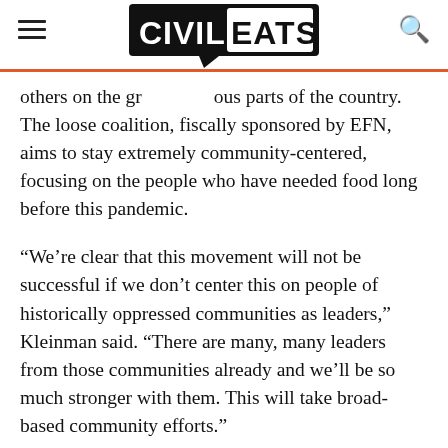CIVIL EATS
others on the ground in various parts of the country. The loose coalition, fiscally sponsored by EFN, aims to stay extremely community-centered, focusing on the people who have needed food long before this pandemic.
“We’re clear that this movement will not be successful if we don’t center this on people of historically oppressed communities as leaders,” Kleinman said. “There are many, many leaders from those communities already and we’ll be so much stronger with them. This will take broad-based community efforts.”
They are calling the movement the “Cooperative